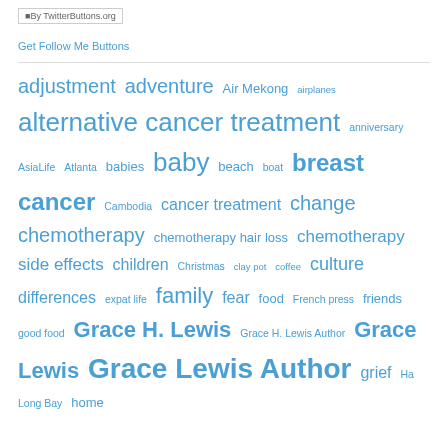[Figure (screenshot): Twitter follow button image with text 'By TwitterButtons.org']
Get Follow Me Buttons
adjustment adventure Air Mekong airplanes alternative cancer treatment anniversary AsiaLife Atlanta babies baby beach boat breast cancer Cambodia cancer treatment change chemotherapy chemotherapy hair loss chemotherapy side effects children Christmas clay pot coffee culture differences expat life family fear food French press friends good food Grace H. Lewis Grace H. Lewis Author Grace Lewis Grace Lewis Author grief Ha Long Bay home